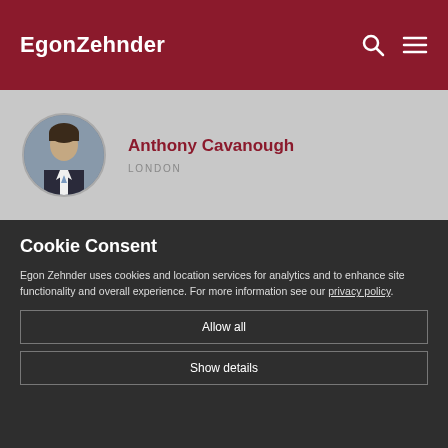EgonZehnder
[Figure (photo): Profile photo of Anthony Cavanough, a man in a suit, circular crop]
Anthony Cavanough
LONDON
Cookie Consent
Egon Zehnder uses cookies and location services for analytics and to enhance site functionality and overall experience. For more information see our privacy policy.
Allow all
Show details
into the whole system, has resulted in a drive and an overall experience that is inclusive, live and alive and